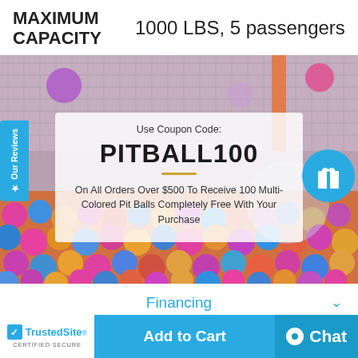MAXIMUM CAPACITY    1000 LBS, 5 passengers
[Figure (photo): Photo of colorful pit balls (blue, red, yellow, pink, purple) in a ball pit with chain-link fence behind, overlaid with a semi-transparent coupon box showing code PITBALL100 and offer text.]
Use Coupon Code:
PITBALL100
On All Orders Over $500 To Receive 100 Multi-Colored Pit Balls Completely Free With Your Purchase
Financing
Delivery and Returns
TrustedSite CERTIFIED SECURE
Add to Cart
Chat